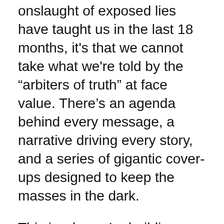onslaught of exposed lies have taught us in the last 18 months, it's that we cannot take what we're told by the “aribiters of truth” at face value. There’s an agenda behind every message, a narrative driving every story, and a series of gigantic cover-ups designed to keep the masses in the dark.
This is why we’re building a network of news outlets that are willing to go against the narrative and expose the truth. We need help. We’re establishing strong partnerships with like-minded news outlets and courageous journalists. Even as Big Tech suppresses us, the honest messages they’re trying to quash are finding their way to the eyes and ears of patriots across the nation. With the help of new content partners like The Epoch Times and